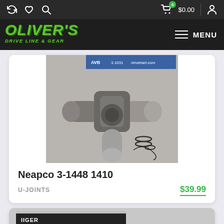Oliver's Drive Line & Gear — navigation bar with cart ($0.00, 0 items) and menu
[Figure (screenshot): Oliver's Drive Line & Gear logo in green italic text on dark background]
[Figure (photo): Neapco 3-1448 1410 U-joint cross piece shown with snap rings, grey metallic finish]
Neapco 3-1448 1410
U-JOINTS
$39.99
[Figure (photo): Partial view of second product card at bottom of page, partially cropped]